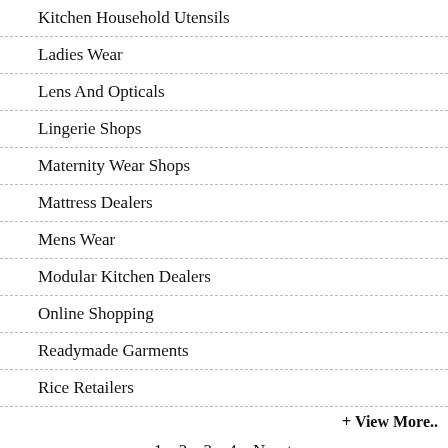Kitchen Household Utensils
Ladies Wear
Lens And Opticals
Lingerie Shops
Maternity Wear Shops
Mattress Dealers
Mens Wear
Modular Kitchen Dealers
Online Shopping
Readymade Garments
Rice Retailers
+ View More..
1  2  3  4  Next
[Figure (screenshot): tell a friend button with icon]
[Figure (screenshot): Twitter Tweet button and scroll-to-top button]